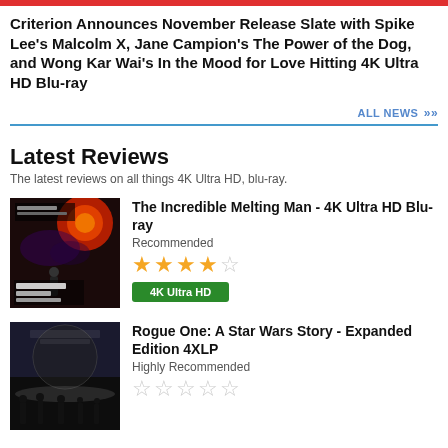Criterion Announces November Release Slate with Spike Lee's Malcolm X, Jane Campion's The Power of the Dog, and Wong Kar Wai's In the Mood for Love Hitting 4K Ultra HD Blu-ray
ALL NEWS »
Latest Reviews
The latest reviews on all things 4K Ultra HD, blu-ray.
[Figure (photo): Movie poster for The Incredible Melting Man - dark sci-fi imagery with red planet and figure]
The Incredible Melting Man - 4K Ultra HD Blu-ray
Recommended
★★★★☆
4K Ultra HD
[Figure (photo): Movie poster for Rogue One: A Star Wars Story - black and white with silhouetted figures]
Rogue One: A Star Wars Story - Expanded Edition 4XLP
Highly Recommended
☆☆☆☆☆